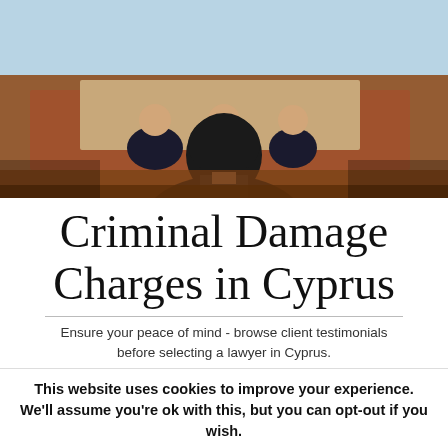[Figure (photo): Courtroom scene viewed from behind a person in a dark suit facing three judges/officials seated at a wooden bench. Light background with pale blue ceiling.]
Criminal Damage Charges in Cyprus
Ensure your peace of mind - browse client testimonials before selecting a lawyer in Cyprus.
This website uses cookies to improve your experience. We'll assume you're ok with this, but you can opt-out if you wish.
Continue | Info and settings